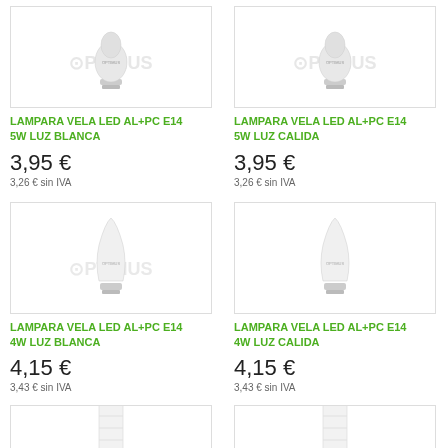[Figure (photo): LED candle bulb E14 with Optimus watermark logo, light bulb facing up]
LAMPARA VELA LED AL+PC E14 5W LUZ BLANCA
3,95 €
3,26 € sin IVA
[Figure (photo): LED candle bulb E14 with Optimus watermark logo, light bulb facing up]
LAMPARA VELA LED AL+PC E14 5W LUZ CALIDA
3,95 €
3,26 € sin IVA
[Figure (photo): LED candle bulb E14, white frosted glass, facing up]
LAMPARA VELA LED AL+PC E14 4W LUZ BLANCA
4,15 €
3,43 € sin IVA
[Figure (photo): LED candle bulb E14, white frosted glass, facing up]
LAMPARA VELA LED AL+PC E14 4W LUZ CALIDA
4,15 €
3,43 € sin IVA
[Figure (photo): LED tube/corn bulb partially visible at bottom of page]
[Figure (photo): LED tube/corn bulb partially visible at bottom of page]